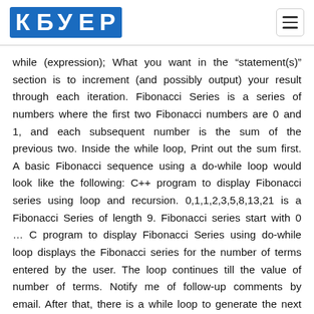[Figure (logo): КБУЕР logo in blue with stylized Cyrillic letters on blue background rectangle]
while (expression); What you want in the "statement(s)" section is to increment (and possibly output) your result through each iteration. Fibonacci Series is a series of numbers where the first two Fibonacci numbers are 0 and 1, and each subsequent number is the sum of the previous two. Inside the while loop, Print out the sum first. A basic Fibonacci sequence using a do-while loop would look like the following: C++ program to display Fibonacci series using loop and recursion. 0,1,1,2,3,5,8,13,21 is a Fibonacci Series of length 9. Fibonacci series start with 0 … C program to display Fibonacci Series using do-while loop displays the Fibonacci series for the number of terms entered by the user. The loop continues till the value of number of terms. Notify me of follow-up comments by email. After that, there is a while loop to generate the next elements of the list. All Rights Reserved. As well as initialized i with 1, to use it in while loop (as loop starts from 1). Your email address will